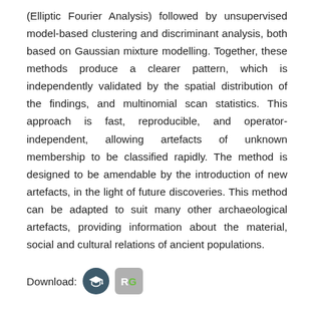(Elliptic Fourier Analysis) followed by unsupervised model-based clustering and discriminant analysis, both based on Gaussian mixture modelling. Together, these methods produce a clearer pattern, which is independently validated by the spatial distribution of the findings, and multinomial scan statistics. This approach is fast, reproducible, and operator-independent, allowing artefacts of unknown membership to be classified rapidly. The method is designed to be amendable by the introduction of new artefacts, in the light of future discoveries. This method can be adapted to suit many other archaeological artefacts, providing information about the material, social and cultural relations of ancient populations.
Download:
[Figure (logo): Semantic Scholar logo button (dark teal circle with graduation cap icon) and ResearchGate logo button (grey rounded rectangle with RG in white/green)]